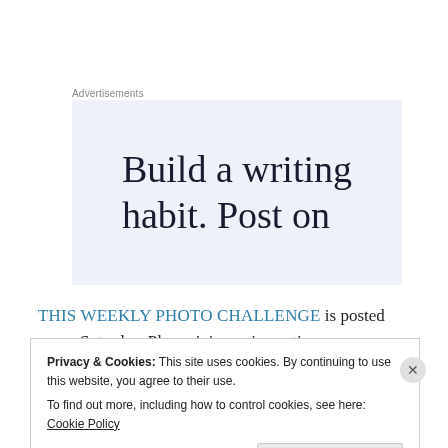Advertisements
[Figure (infographic): Advertisement banner with light blue background containing text: Build a writing habit. Post on]
THIS WEEKLY PHOTO CHALLENGE is posted every Saturday. Please join me in posting your own photos with #2019picoftheweek
Privacy & Cookies: This site uses cookies. By continuing to use this website, you agree to their use.
To find out more, including how to control cookies, see here: Cookie Policy
Close and accept